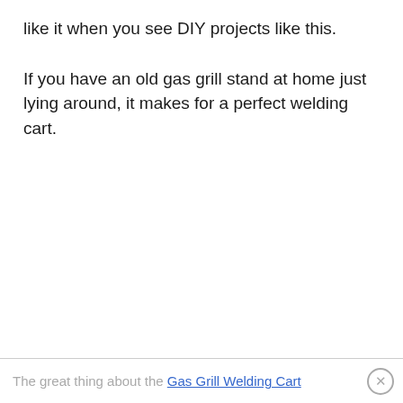like it when you see DIY projects like this.
If you have an old gas grill stand at home just lying around, it makes for a perfect welding cart.
The great thing about the Gas Grill Welding Cart ×